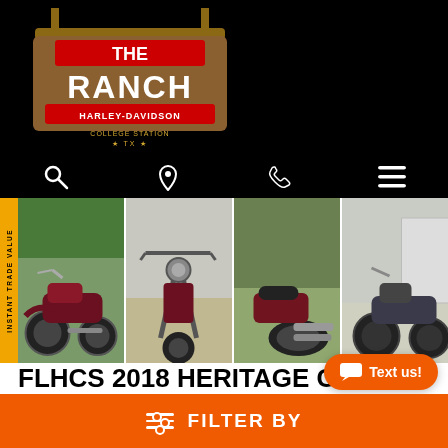[Figure (logo): The Ranch Harley-Davidson College Station TX logo on black header background]
[Figure (photo): Four photos of a 2018 Harley-Davidson Heritage Classic 114 motorcycle from various angles: side view, front view, rear-side view, and another side view]
FLHCS 2018 HERITAGE CLASSIC 114
U068241
Pre-owned
2018
1015 mi
FILTER BY